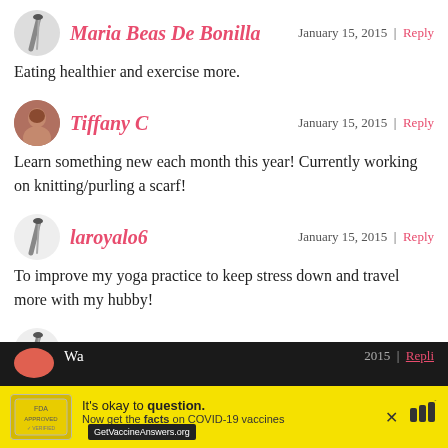Maria Beas De Bonilla | January 15, 2015 | Reply
Eating healthier and exercise more.
Tiffany C | January 15, 2015 | Reply
Learn something new each month this year! Currently working on knitting/purling a scarf!
laroyalo6 | January 15, 2015 | Reply
To improve my yoga practice to keep stress down and travel more with my hubby!
Kari Starr | January 15, 2015 | Reply
Tell me one of your New Year's Resolutions!……………One is to take care of ME
[Figure (infographic): Advertisement banner with yellow background. Shows FDA-approved seal icon on left. Text reads: 'It's okay to question. Now get the facts on COVID-19 vaccines GetVaccineAnswers.org'. Close button (X) on right side.]